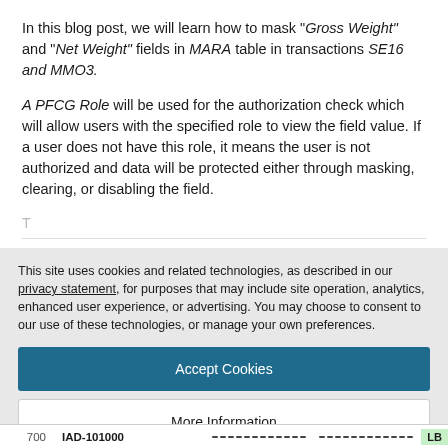In this blog post, we will learn how to mask "Gross Weight" and "Net Weight" fields in MARA table in transactions SE16 and MMO3.
A PFCG Role will be used for the authorization check which will allow users with the specified role to view the field value. If a user does not have this role, it means the user is not authorized and data will be protected either through masking, clearing, or disabling the field.
[partial line obscured by overlay]
This site uses cookies and related technologies, as described in our privacy statement, for purposes that may include site operation, analytics, enhanced user experience, or advertising. You may choose to consent to our use of these technologies, or manage your own preferences.
Accept Cookies
More Information
Privacy Policy | Powered by: TrustArc
700    IAD-101000    ................    ................    LB